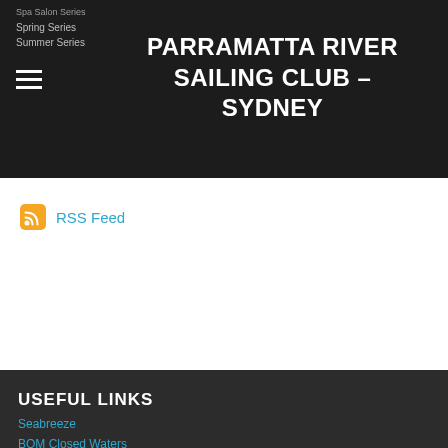PARRAMATTA RIVER SAILING CLUB – SYDNEY
RSS Feed
USEFUL LINKS
Seabreeze
BOM Closed Waters
BOM Open Waters
Tides